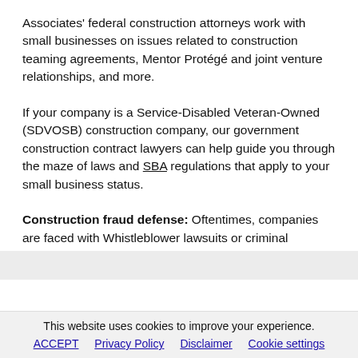Associates' federal construction attorneys work with small businesses on issues related to construction teaming agreements, Mentor Protégé and joint venture relationships, and more.
If your company is a Service-Disabled Veteran-Owned (SDVOSB) construction company, our government construction contract lawyers can help guide you through the maze of laws and SBA regulations that apply to your small business status.
Construction fraud defense: Oftentimes, companies are faced with Whistleblower lawsuits or criminal [continues below]
This website uses cookies to improve your experience.
ACCEPT | Privacy Policy | Disclaimer | Cookie settings